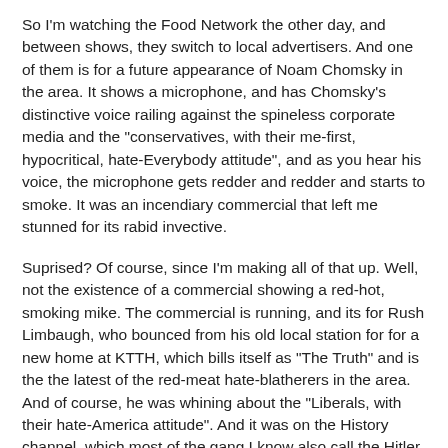So I'm watching the Food Network the other day, and between shows, they switch to local advertisers. And one of them is for a future appearance of Noam Chomsky in the area. It shows a microphone, and has Chomsky's distinctive voice railing against the spineless corporate media and the "conservatives, with their me-first, hypocritical, hate-Everybody attitude", and as you hear his voice, the microphone gets redder and redder and starts to smoke. It was an incendiary commercial that left me stunned for its rabid invective.
Suprised? Of course, since I'm making all of that up. Well, not the existence of a commercial showing a red-hot, smoking mike. The commercial is running, and its for Rush Limbaugh, who bounced from his old local station for for a new home at KTTH, which bills itself as "The Truth" and is the the latest of the red-meat hate-blatherers in the area. And of course, he was whining about the "Liberals, with their hate-America attitude". And it was on the History channel, which most of the gang I know also call the Hitler Channel for its "all-this-and-WWII" programming. And the local feed chose the right show to advertise in... The Barbarians, a